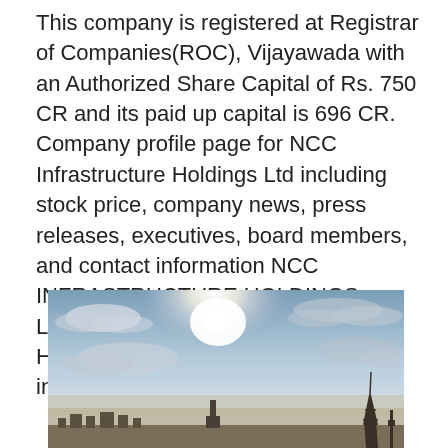This company is registered at Registrar of Companies(ROC), Vijayawada with an Authorized Share Capital of Rs. 750 CR and its paid up capital is 696 CR. Company profile page for NCC Infrastructure Holdings Ltd including stock price, company news, press releases, executives, board members, and contact information NCC INFRASTRUCTURE HOLDINGS LIMITED. NCC INFRASTRUCTURE HOLDINGS LIMITED is a public incorporated on 27 May 2005.
[Figure (photo): Landscape photo showing a dramatic sky with clouds, bright sunlight near the top-center, and a city skyline silhouette at the bottom with a tall tower (resembling the Eiffel Tower) on the right side.]